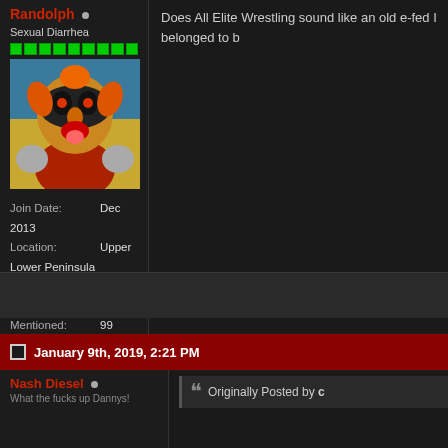Randolph • (online)
Sexual Diarrhea
[Figure (illustration): Cartoon avatar of an animated character with orange hair, black mask, red outfit, sticking out tongue, with fists raised]
Join Date: Dec 2013
Location: Upper Lower Peninsula
Posts: 6,396
Blog Entries: 1
Mentioned: 99 Post(s)
Tagged: 0 Thread(s)
Rep Power: 929992
[Figure (illustration): Ukraine flag badge with .UA text]
Does All Elite Wrestling sound like an old e-fed I belonged to b
January 9th, 2019, 2:21 PM
Nash Diesel •
What the fucks up Dannys!
Originally Posted by c